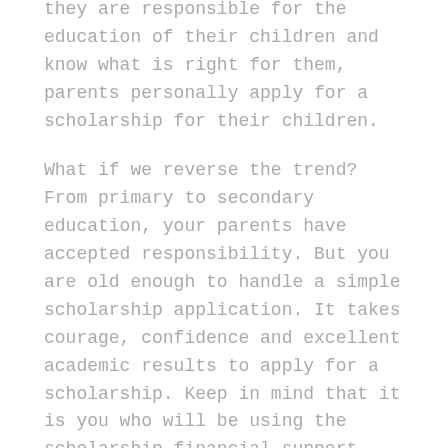they are responsible for the education of their children and know what is right for them, parents personally apply for a scholarship for their children.
What if we reverse the trend? From primary to secondary education, your parents have accepted responsibility. But you are old enough to handle a simple scholarship application. It takes courage, confidence and excellent academic results to apply for a scholarship. Keep in mind that it is you who will be using the scholarship financial support, not your parents. So applying for a scholarship is now your business and you can do it with less supervision from your parents.
The procedure for applying for a college scholarship is similar when you apply to the university. You need to know all the available exchanges and list potential prospects that you think will meet your personal needs.